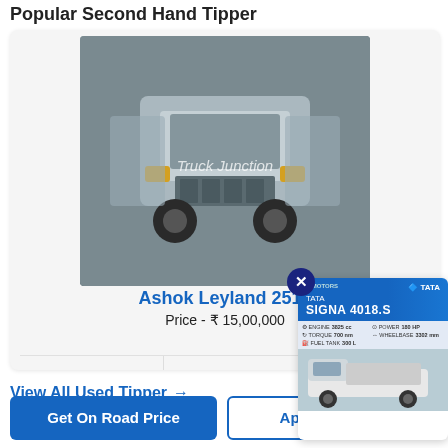Popular Second Hand Tipper
[Figure (photo): Front view of an Ashok Leyland 2518 tipper truck with 'Truck Junction' watermark overlay]
Ashok Leyland 2518
Price - ₹ 15,00,000
80,000 km
Barddhaman
[Figure (photo): Tata Signa 4018.S advertisement popup with truck image and specifications]
View All Used Tipper →
Get On Road Price
Apply for Loan